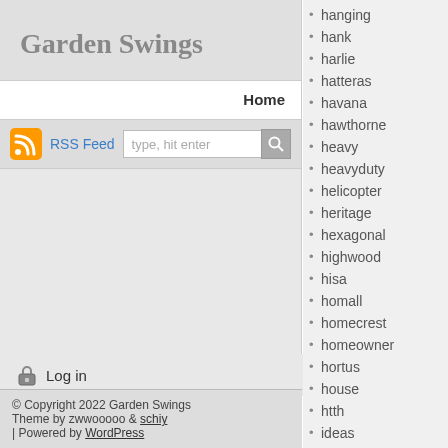Garden Swings
Home
RSS Feed  type, hit enter
Log in
© Copyright 2022 Garden Swings
Theme by zwwooooo & schiy
| Powered by WordPress
hanging
hank
harlie
hatteras
havana
hawthorne
heavy
heavyduty
helicopter
heritage
hexagonal
highwood
hisa
homall
homecrest
homeowner
hortus
house
htth
ideas